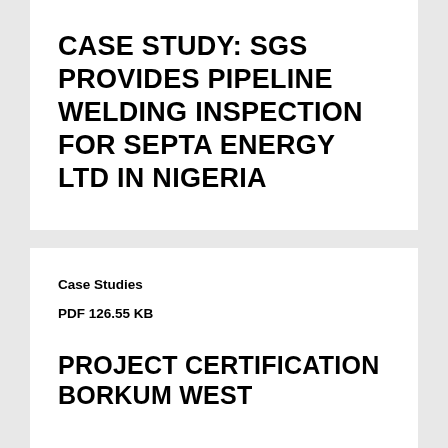CASE STUDY: SGS PROVIDES PIPELINE WELDING INSPECTION FOR SEPTA ENERGY LTD IN NIGERIA
Case Studies
PDF 126.55 KB
PROJECT CERTIFICATION BORKUM WEST